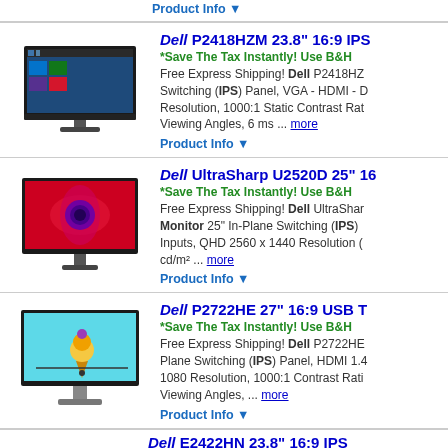[Figure (photo): Top partial product snippet with Product Info link]
Product Info ▼
Dell P2418HZM 23.8" 16:9 IPS...
*Save The Tax Instantly! Use B&H...
[Figure (photo): Dell P2418HZM monitor product image]
Free Express Shipping! Dell P2418HZ... Switching (IPS) Panel, VGA - HDMI - D... Resolution, 1000:1 Static Contrast Rat... Viewing Angles, 6 ms ... more
Product Info ▼
Dell UltraSharp U2520D 25" 16...
*Save The Tax Instantly! Use B&H...
[Figure (photo): Dell UltraSharp U2520D monitor product image with flower on screen]
Free Express Shipping! Dell UltraSharp Monitor 25" In-Plane Switching (IPS)... Inputs, QHD 2560 x 1440 Resolution (... cd/m² ... more
Product Info ▼
Dell P2722HE 27" 16:9 USB T...
*Save The Tax Instantly! Use B&H...
[Figure (photo): Dell P2722HE monitor product image with ice cream cone graphic on screen]
Free Express Shipping! Dell P2722HE... Plane Switching (IPS) Panel, HDMI 1.4... 1080 Resolution, 1000:1 Contrast Rati... Viewing Angles, ... more
Product Info ▼
Dell E2422HN 23.8" 16:9 IPS ...